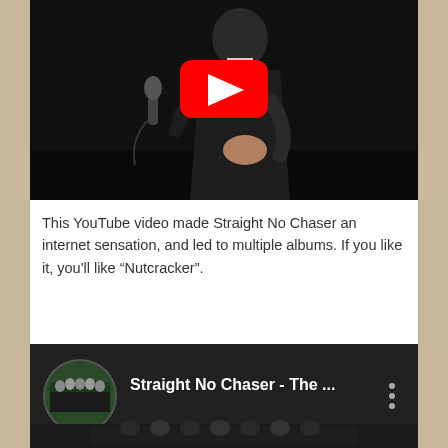[Figure (screenshot): YouTube video thumbnail showing a man in a tuxedo/bow tie singing into a microphone on a dark stage, with a red YouTube play button overlay in the center]
This YouTube video made Straight No Chaser an internet sensation, and led to multiple albums. If you like it, you'll like “Nutcracker”.
[Figure (screenshot): YouTube video embed showing Straight No Chaser video with circular group photo thumbnail and title 'Straight No Chaser - The ...' with three-dot menu icon]